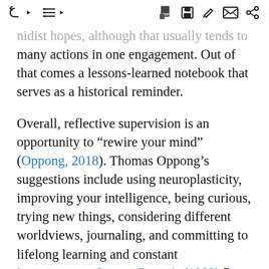Navigation and toolbar icons
nidist hopes, although that usually leads to many actions in one engagement. Out of that comes a lessons-learned notebook that serves as a historical reminder.
Overall, reflective supervision is an opportunity to “rewire your mind” (Oppong, 2018). Thomas Oppong’s suggestions include using neuroplasticity, improving your intelligence, being curious, trying new things, considering different worldviews, journaling, and committing to lifelong learning and constant improvement. Steven Covey’s (1989) 7 Habits of Highly Successful People provides some advice and priorities for consideration, including the following: be proactive; begin with the end in mind; put first